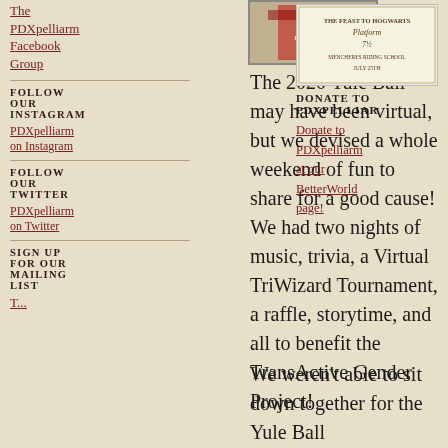The PDXpelliarm Facebook Group
[Figure (photo): Photo of a red PDXpelliarm banner or costume]
[Figure (photo): Ticket or invitation image for PDXpelliarm Platform event]
FOLLOW OUR INSTAGRAM
PDXpelliarm on Instagram
FOLLOW OUR TWITTER
PDXpelliarm on Twitter
SIGN UP FOR OUR MAILING LIST
The 2020 Yule Ball may have been virtual, but we devised a whole weekend of fun to share for a good cause! We had two nights of music, trivia, a Virtual TriWizard Tournament, a raffle, storytime, and all to benefit the TransActive Gender Project!
DONATE TO PDXPELLIAR
Donate to PDXpelliarm at our BetterWorld page!
We weren't able to sit down together for the Yule Ball